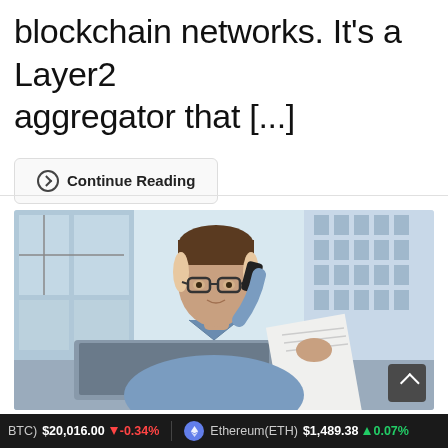blockchain networks. It's a Layer2 aggregator that [...]
Continue Reading
[Figure (photo): A young man with glasses wearing a light blue shirt, talking on a phone while looking at a paper document, with a laptop open in front of him. Office building visible through large windows in the background.]
Bitcoin(BTC) $20,016.00 ↓ -0.34%   Ethereum(ETH) $1,489.38 ↑ 0.07%